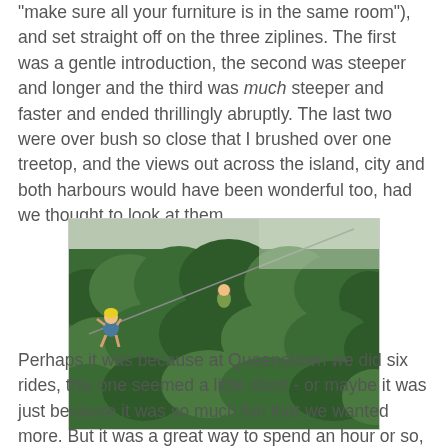"make sure all your furniture is in the same room"), and set straight off on the three ziplines. The first was a gentle introduction, the second was steeper and longer and the third was much steeper and faster and ended thrillingly abruptly. The last two were over bush so close that I brushed over one treetop, and the views out across the island, city and both harbours would have been wonderful too, had we thought to look at them.
[Figure (photo): A person in a yellow helmet riding a zipline over dense green bush on a steep hillside. Another person or platform is visible further along the cable.]
Perhaps it was because at Queenstown we did six rides, this one seemed a little short - or maybe it was just because it was so much fun that we wanted more. But it was a great way to spend an hour or so, including the time it took to walk